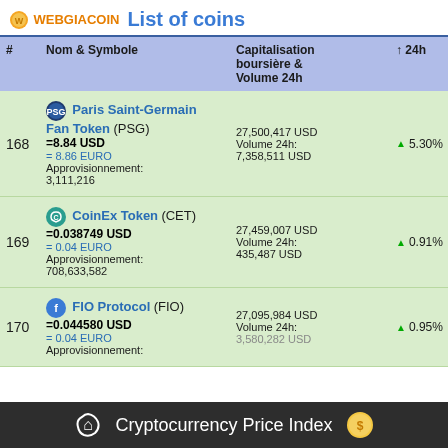WEBGIACOIN  List of coins
| # | Nom & Symbole | Capitalisation boursière & Volume 24h | ↑ 24h | Exploitable | Rang |
| --- | --- | --- | --- | --- | --- |
| 168 | Paris Saint-Germain Fan Token (PSG) =8.84 USD = 8.86 EURO Approvisionnement: 3,111,216 | 27,500,417 USD Volume 24h: 7,358,511 USD | ▲ 5.30% | N/A | 517 |
| 169 | CoinEx Token (CET) =0.038749 USD = 0.04 EURO Approvisionnement: 708,633,582 | 27,459,007 USD Volume 24h: 435,487 USD | ▲ 0.91% | N/A | 519 |
| 170 | FIO Protocol (FIO) =0.044580 USD = 0.04 EURO Approvisionnement: 3,580,282 USD | 27,095,984 USD Volume 24h: 3,580,282 USD | ▲ 0.95% | N/A | 521 |
Cryptocurrency Price Index